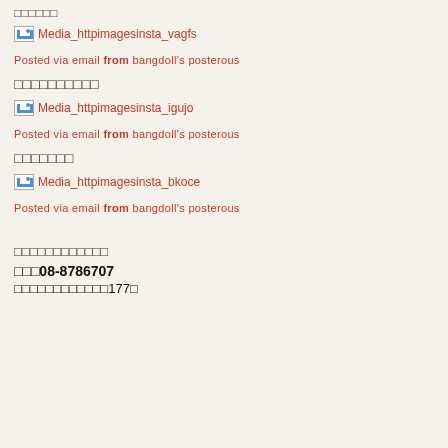□□□□□□
[Figure (photo): Broken image placeholder labeled Media_httpimagesinsta_vagfs]
Posted via email from bangdoll's posterous
□□□□□□□□□□
[Figure (photo): Broken image placeholder labeled Media_httpimagesinsta_igujo]
Posted via email from bangdoll's posterous
□□□□□□□
[Figure (photo): Broken image placeholder labeled Media_httpimagesinsta_bkoce]
Posted via email from bangdoll's posterous
□□□□□□□□□□□□
□□□08-8786707
□□□□□□□□□□□□177□